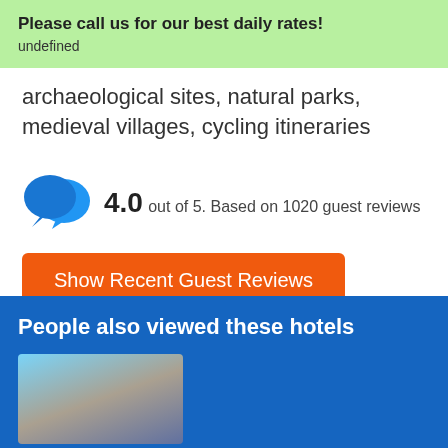Please call us for our best daily rates!
undefined
archaeological sites, natural parks, medieval villages, cycling itineraries
4.0 out of 5. Based on 1020 guest reviews
Show Recent Guest Reviews
People also viewed these hotels
[Figure (photo): Hotel thumbnail photo showing sky and landscape]